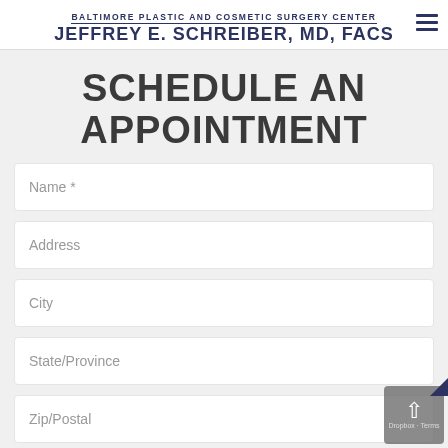BALTIMORE PLASTIC AND COSMETIC SURGERY CENTER
JEFFREY E. SCHREIBER, MD, FACS
SCHEDULE AN APPOINTMENT
Name *
Address
City
State/Province
Zip/Postal